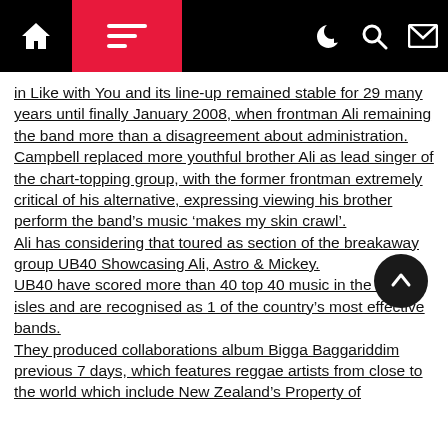Navigation bar with home, menu, dark mode, search, and mail icons
in Like with You and its line-up remained stable for 29 many years until finally January 2008, when frontman Ali remaining the band more than a disagreement about administration.
Campbell replaced more youthful brother Ali as lead singer of the chart-topping group, with the former frontman extremely critical of his alternative, expressing viewing his brother perform the band’s music ‘makes my skin crawl’.
Ali has considering that toured as section of the breakaway group UB40 Showcasing Ali, Astro & Mickey.
UB40 have scored more than 40 top 40 music in the British isles and are recognised as 1 of the country’s most effective bands.
They produced collaborations album Bigga Baggariddim previous 7 days, which features reggae artists from close to the world which include New Zealand’s Property of